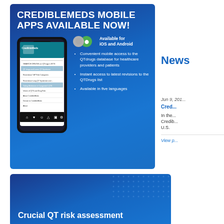[Figure (infographic): Blue banner advertisement for CredibleMeds Mobile Apps showing a smartphone mockup with the app interface, iOS and Android availability icons, and bullet points listing features: convenient mobile access to QTdrugs database, instant access to latest revisions to the QTDrugs list, available in five languages]
CREDIBLEMEDS MOBILE APPS AVAILABLE NOW!
Convenient mobile access to the QTdrugs database for healthcare providers and patients
Instant access to latest revisions to the QTDrugs list
Available in five languages
News
Jun 9, 201...
Cred...
In the... Credib... U.S.
View p...
[Figure (infographic): Blue banner with dotted pattern showing partial text 'Crucial QT risk assessment']
Crucial QT risk assessment